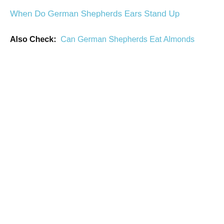When Do German Shepherds Ears Stand Up
Also Check:  Can German Shepherds Eat Almonds